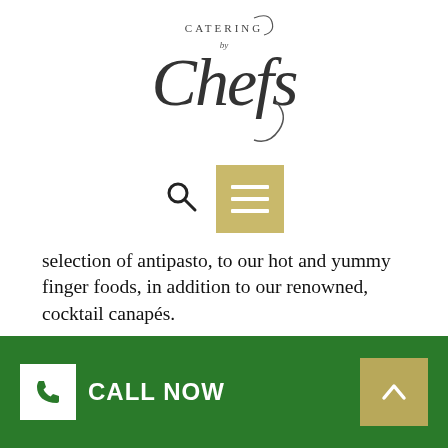[Figure (logo): Catering by Chefs logo — cursive/script wordmark with a chef's hat flourish]
[Figure (infographic): Navigation row with search icon (magnifying glass) and a tan/gold hamburger menu button (three white horizontal lines)]
selection of antipasto, to our hot and yummy finger foods, in addition to our renowned, cocktail canapés.
We can cater for any size of wedding event, anytime, anywhere
With the rise in appeal of destination weddings, we have made it our responsibility to be offered on hand, anywhere your grand occasion is going to be set in Toolern Vale! Our event managers will make your life
CALL NOW  [scroll to top]